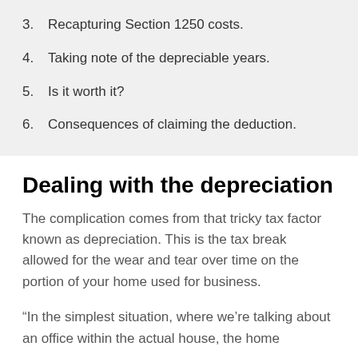3.  Recapturing Section 1250 costs.
4.  Taking note of the depreciable years.
5.  Is it worth it?
6.  Consequences of claiming the deduction.
Dealing with the depreciation
The complication comes from that tricky tax factor known as depreciation. This is the tax break allowed for the wear and tear over time on the portion of your home used for business.
“In the simplest situation, where we’re talking about an office within the actual house, the home